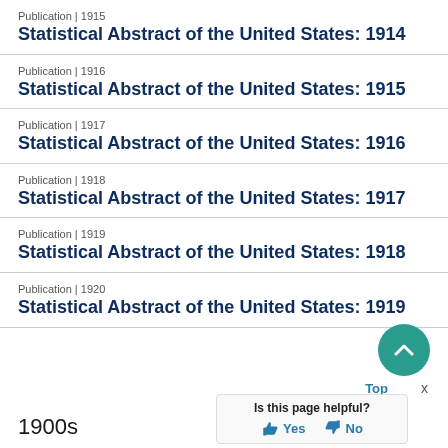Publication | 1915
Statistical Abstract of the United States: 1914
Publication | 1916
Statistical Abstract of the United States: 1915
Publication | 1917
Statistical Abstract of the United States: 1916
Publication | 1918
Statistical Abstract of the United States: 1917
Publication | 1919
Statistical Abstract of the United States: 1918
Publication | 1920
Statistical Abstract of the United States: 1919
1900s